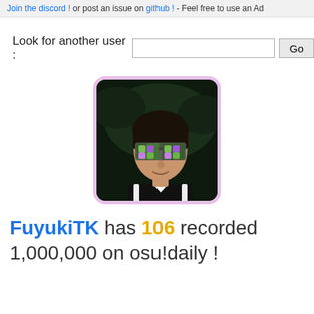Join the discord ! or post an issue on github ! - Feel free to use an Ad
Look for another user :
[Figure (photo): Profile photo of user FuyukiTK wearing large decorative jeweled sunglasses, black jacket with white stripes, dark background. Photo has pink/lavender rounded border.]
FuyukiTK has 106 recorded 1,000,000 on osu!daily !